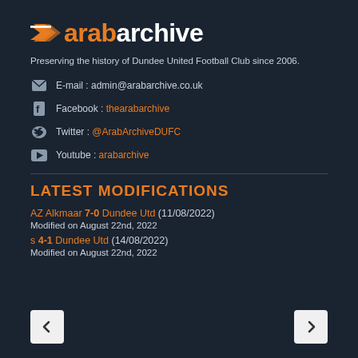[Figure (logo): ArabArchive logo with orange arrow/chevron icon and text 'arabarchive' in orange and white]
Preserving the history of Dundee United Football Club since 2006.
E-mail : admin@arabarchive.co.uk
Facebook : thearabarchive
Twitter : @ArabArchiveDUFC
Youtube : arabarchive
LATEST MODIFICATIONS
AZ Alkmaar 7-0 Dundee Utd (11/08/2022)
Modified on August 22nd, 2022
s 4-1 Dundee Utd (14/08/2022)
Modified on August 22nd, 2022